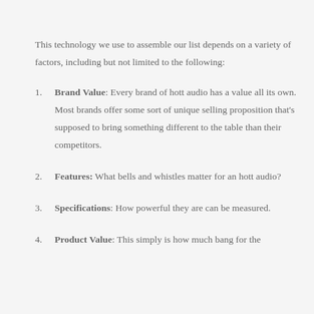This technology we use to assemble our list depends on a variety of factors, including but not limited to the following:
Brand Value: Every brand of hott audio has a value all its own. Most brands offer some sort of unique selling proposition that's supposed to bring something different to the table than their competitors.
Features: What bells and whistles matter for an hott audio?
Specifications: How powerful they are can be measured.
Product Value: This simply is how much bang for the